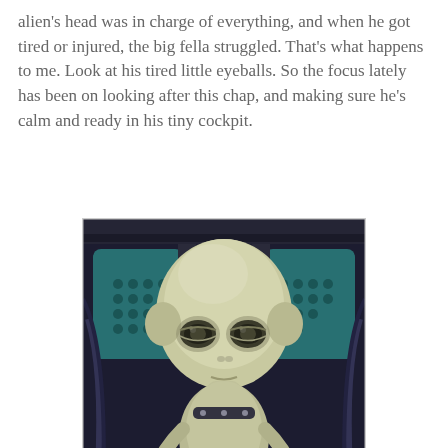alien's head was in charge of everything, and when he got tired or injured, the big fella struggled. That's what happens to me. Look at his tired little eyeballs. So the focus lately has been on looking after this chap, and making sure he's calm and ready in his tiny cockpit.
[Figure (photo): A small grey alien creature with large tired-looking eyes sitting in a mechanical cockpit filled with metal levers, pipes, and industrial controls. The alien has a large domed head, thin limbs, and appears to be seated in a futuristic control seat surrounded by bronze and steel machinery.]